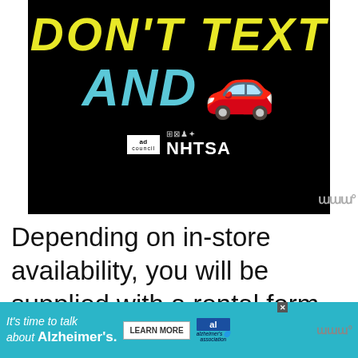[Figure (infographic): Black background ad with yellow italic 'DON'T TEXT' text, cyan 'AND' text with red car emoji, and Ad Council / NHTSA logos at bottom]
Depending on in-store availability, you will be supplied with a rental form and be required to show a valid driver's license and proof of insurance for pickup.
[Figure (infographic): Alzheimer's Association ad banner: cyan background with 'It's time to talk about Alzheimer's.' text, LEARN MORE button, and Alzheimer's association logo]